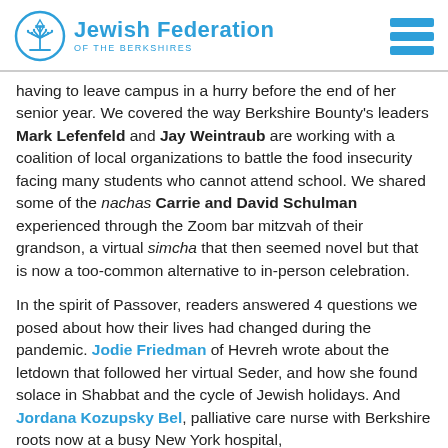Jewish Federation OF THE BERKSHIRES
having to leave campus in a hurry before the end of her senior year. We covered the way Berkshire Bounty's leaders Mark Lefenfeld and Jay Weintraub are working with a coalition of local organizations to battle the food insecurity facing many students who cannot attend school. We shared some of the nachas Carrie and David Schulman experienced through the Zoom bar mitzvah of their grandson, a virtual simcha that then seemed novel but that is now a too-common alternative to in-person celebration.
In the spirit of Passover, readers answered 4 questions we posed about how their lives had changed during the pandemic. Jodie Friedman of Hevreh wrote about the letdown that followed her virtual Seder, and how she found solace in Shabbat and the cycle of Jewish holidays. And Jordana Kozupsky Bel, palliative care nurse with Berkshire roots now at a busy New York hospital,